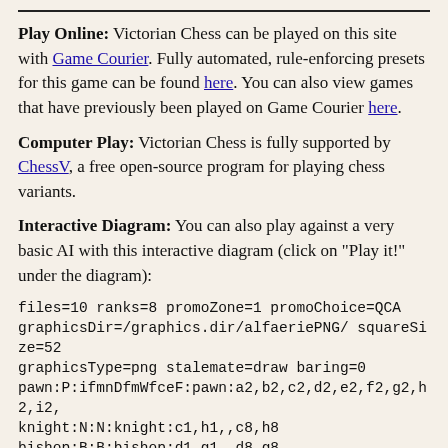Play Online: Victorian Chess can be played on this site with Game Courier. Fully automated, rule-enforcing presets for this game can be found here. You can also view games that have previously been played on Game Courier here.
Computer Play: Victorian Chess is fully supported by ChessV, a free open-source program for playing chess variants.
Interactive Diagram: You can also play against a very basic AI with this interactive diagram (click on "Play it!" under the diagram):
files=10 ranks=8 promoZone=1 promoChoice=QCA
graphicsDir=/graphics.dir/alfaeriePNG/ squareSize=52
graphicsType=png stalemate=draw baring=0
pawn:P:ifmnDfmWfceF:pawn:a2,b2,c2,d2,e2,f2,g2,h2,i2,
knight:N:N:knight:c1,h1,,c8,h8
bishop:B:B:bishop:d1,g1,,d8,g8
rook:R:R:rook:b1,i1,,b8,i8 queen:Q:RB:queen:j1,,j8